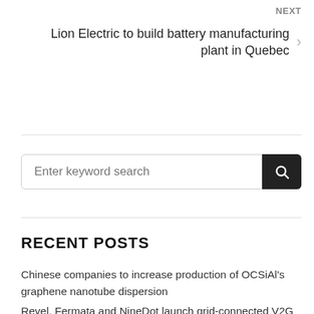NEXT
Lion Electric to build battery manufacturing plant in Quebec
RECENT POSTS
Chinese companies to increase production of OCSiAl's graphene nanotube dispersion
Revel, Fermata and NineDot launch grid-connected V2G